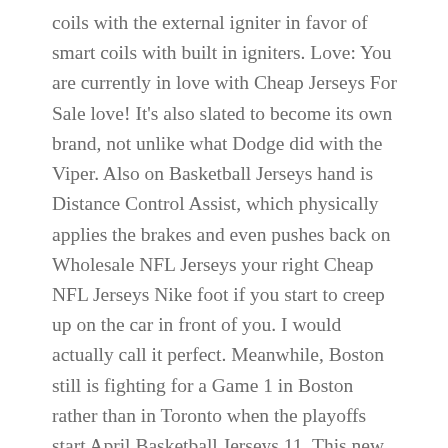coils with the external igniter in favor of smart coils with built in igniters. Love: You are currently in love with Cheap Jerseys For Sale love! It's also slated to become its own brand, not unlike what Dodge did with the Viper. Also on Basketball Jerseys hand is Distance Control Assist, which physically applies the brakes and even pushes back on Wholesale NFL Jerseys your right Cheap NFL Jerseys Nike foot if you start to creep up on the car in front of you. I would actually call it perfect. Meanwhile, Boston still is fighting for a Game 1 in Boston rather than in Toronto when the playoffs start April Basketball Jerseys 11. This new 10-speed